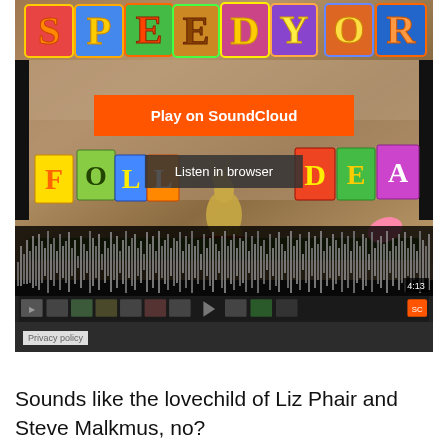[Figure (screenshot): SoundCloud embedded player showing a colorful album art with decorative letters spelling 'SPEEDY ORTIZ' at top and a scene with a golden deer and letters at bottom. Shows 'Play on SoundCloud' orange button and 'Listen in browser' gray button overlay. Waveform visible at bottom of player. Time shows 4:13. Privacy policy label visible at bottom left of player.]
Sounds like the lovechild of Liz Phair and Steve Malkmus, no?